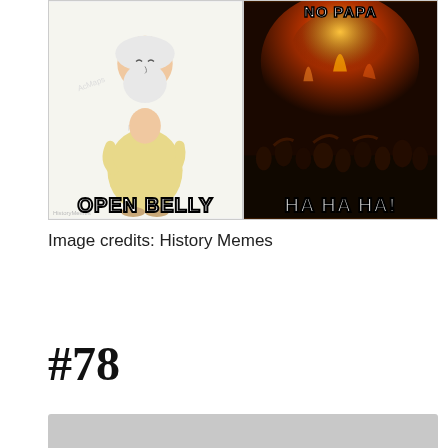[Figure (photo): A two-panel history meme. Left panel: cartoon illustration of an old bearded philosopher (Socrates-like) in a robe with text 'FEELING LIES?' at top and 'OPEN BELLY' at bottom. Right panel: dark dramatic painting of hellfire and crowds with text 'NO PAPA' at top and 'HA HA HA!' at bottom. Watermark reads 'HistoryMemes' at bottom left.]
Image credits: History Memes
#78